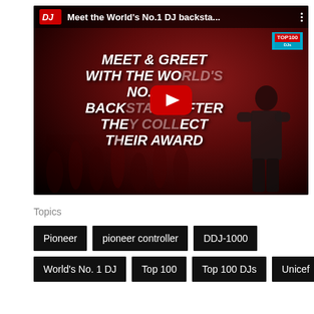[Figure (screenshot): YouTube video thumbnail showing 'Meet the World's No.1 DJ backsta...' with DJ Mag logo, red-tinted backstage photo, bold text overlay reading 'MEET & GREET WITH THE WORLD'S NO.1 DJ BACKSTAGE AFTER THEY COLLECT THEIR AWARD', YouTube play button overlay, and TOP100 DJs badge]
Topics
Pioneer
pioneer controller
DDJ-1000
World's No. 1 DJ
Top 100
Top 100 DJs
Unicef